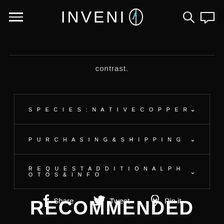INVENIO
contrast.
SPECIES: NATIVE COPPER
PURCHASING & SHIPPING
REQUEST ADDITIONAL PHOTOS & INFO
Share  Tweet  Pin it
RECOMMENDED